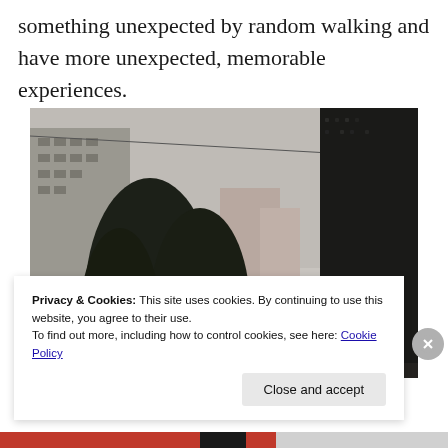something unexpected by random walking and have more unexpected, memorable experiences.
[Figure (photo): Urban street scene with large dark evergreen trees in the foreground, multi-story buildings on left and right, overcast grey sky, and wires overhead. The building on the right has a dark textured surface. Rainy or overcast city atmosphere.]
Privacy & Cookies: This site uses cookies. By continuing to use this website, you agree to their use.
To find out more, including how to control cookies, see here: Cookie Policy
Close and accept